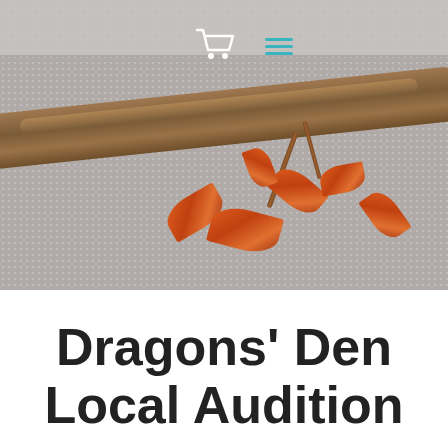[Figure (photo): Close-up photo of a decorative arrangement featuring a driftwood branch and copper-colored metallic leaves on a grey textured fabric background, with a shopping cart icon and menu icon overlaid]
Dragons' Den Local Audition